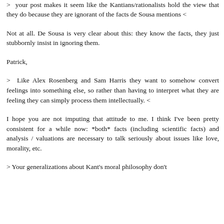nonsense on stilts...
> your post makes it seem like the Kantians/rationalists hold the view that they do because they are ignorant of the facts de Sousa mentions <
Not at all. De Sousa is very clear about this: they know the facts, they just stubbornly insist in ignoring them.
Patrick,
> Like Alex Rosenberg and Sam Harris they want to somehow convert feelings into something else, so rather than having to interpret what they are feeling they can simply process them intellectually. <
I hope you are not imputing that attitude to me. I think I've been pretty consistent for a while now: *both* facts (including scientific facts) and analysis / valuations are necessary to talk seriously about issues like love, morality, etc.
> Your generalizations about Kant's moral philosophy don't